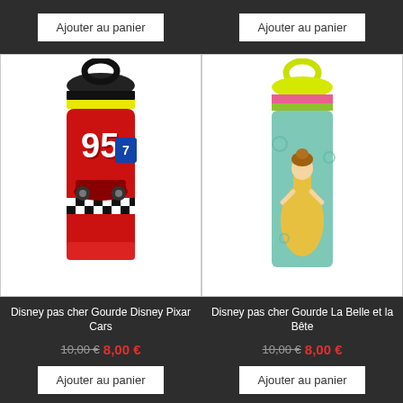Ajouter au panier
Ajouter au panier
[Figure (photo): Disney Pixar Cars water bottle with Lightning McQueen design, red bottle with black lid and yellow stripe]
[Figure (photo): Disney Beauty and the Beast water bottle (La Belle et la Bête), teal/green bottle with pink and yellow lid]
Disney pas cher Gourde Disney Pixar Cars
10,00 €  8,00 €
Disney pas cher Gourde La Belle et la Bête
10,00 €  8,00 €
Ajouter au panier
Ajouter au panier